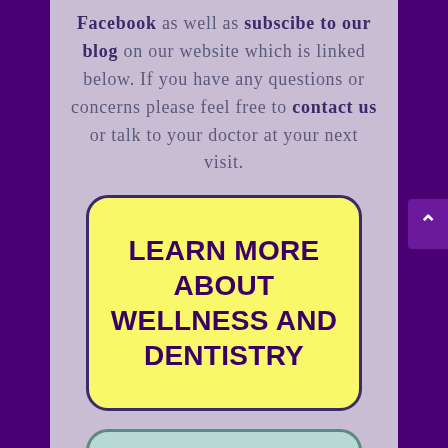Facebook as well as subscibe to our blog on our website which is linked below. If you have any questions or concerns please feel free to contact us or talk to your doctor at your next visit.
[Figure (other): Yellow rounded button with text: LEARN MORE ABOUT WELLNESS AND DENTISTRY]
[Figure (other): Teal/mint rounded button with text: CHECK OUT OUR (partially visible)]